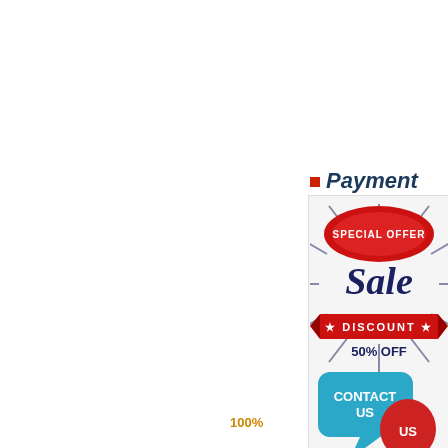Payment
[Figure (illustration): Special Offer Sale Discount 50% Off advertisement banner with Contact Us speech bubble graphic]
100%
FAG ma bearings Taper Ro Parts inc bearing b K/C3 Le 33116 T Limited..FAG 30315 Bearing: Old Brand:FAG,Types:Tapered Roller rolamentos 33116 de aço inoxidáv UC205 NO. FAG NO. FAG NO. F bearings|K30×37×20 size:303720 fag21315ek.tvpb+h315 fag33116-